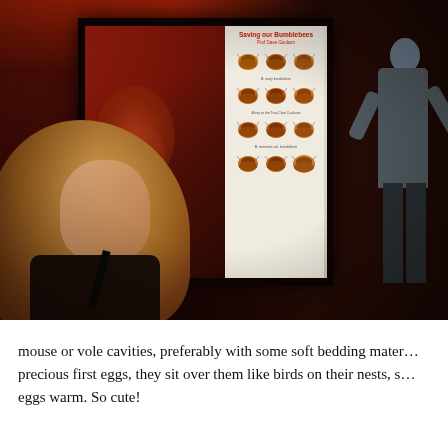[Figure (photo): A photograph of a presentation lecture in a dimly lit room with red ambient lighting. A presenter (male, standing) speaks at a podium beside a projection screen showing a slide titled 'Saving our Bumblebees' by Prof Dave Goulson, with illustrations of bumblebee species. In the foreground, a woman with blonde/light brown hair sits with her back to the camera watching the presentation.]
mouse or vole cavities, preferably with some soft bedding mater... precious first eggs, they sit over them like birds on their nests, s... eggs warm. So cute!